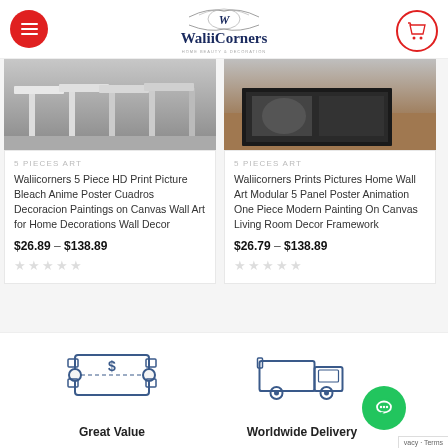[Figure (logo): WaliiCorners logo with decorative W emblem and tagline]
[Figure (photo): Product image showing chairs/furniture in black and white]
5 PIECES ART
Waliicorners 5 Piece HD Print Picture Bleach Anime Poster Cuadros Decoracion Paintings on Canvas Wall Art for Home Decorations Wall Decor
$26.89 – $138.89
[Figure (photo): Product image showing framed wall art panel on a surface]
5 PIECES ART
Waliicorners Prints Pictures Home Wall Art Modular 5 Panel Poster Animation One Piece Modern Painting On Canvas Living Room Decor Framework
$26.79 – $138.89
[Figure (illustration): Dollar/coupon ticket icon representing Great Value]
Great Value
[Figure (illustration): Delivery truck icon representing Worldwide Delivery]
Worldwide Delivery